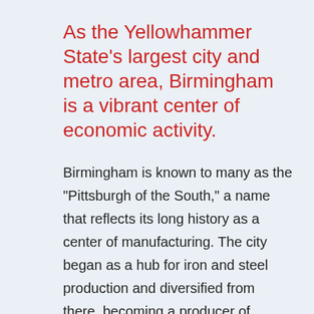As the Yellowhammer State's largest city and metro area, Birmingham is a vibrant center of economic activity.
Birmingham is known to many as the "Pittsburgh of the South," a name that reflects its long history as a center of manufacturing. The city began as a hub for iron and steel production and diversified from there, becoming a producer of automotive parts, machinery, and other metals.